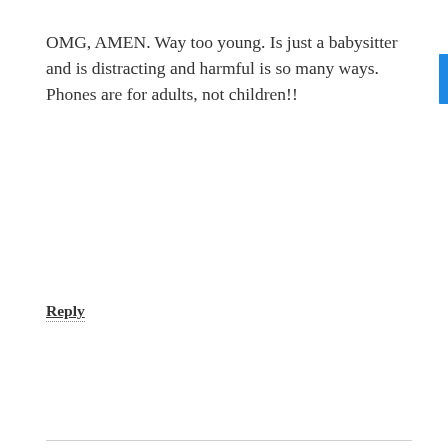OMG, AMEN. Way too young. Is just a babysitter and is distracting and harmful is so many ways. Phones are for adults, not children!!
Reply
Katie says
February 24, 2017 at 4:38 AM
Beautifully written.
We cleared out about 75% of our stuff last year and it made a huge difference in our home and we were far from hoarders. We have recently discovered the local toy library and go there